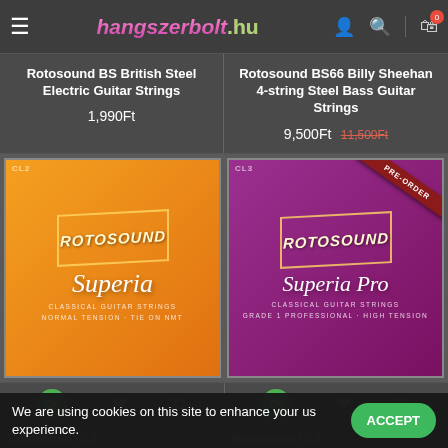hangszerbolt.hu
Rotosound BS British Steel Electric Guitar Strings
1,990Ft
Rotosound BS66 Billy Sheehan 4-string Steel Bass Guitar Strings
9,500Ft  11,500Ft
[Figure (photo): Rotosound CL2 Superia Classical Guitar Strings orange packaging]
[Figure (photo): Rotosound CL3 Superia Pro Classical Guitar Strings purple packaging with PRE-ORDER ribbon]
We are using cookies on this site to enhance your user experience.
Rotosound CL2 Classical Guitar
Rotosound CL3 Superia Pro Classical